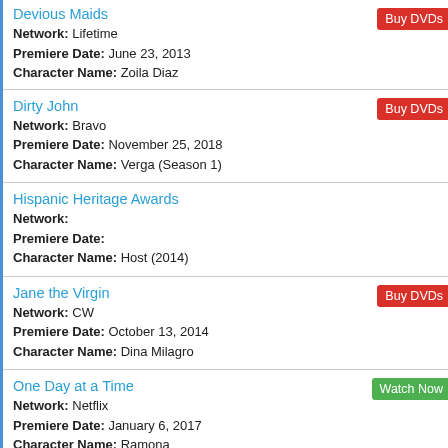Devious Maids
Network: Lifetime
Premiere Date: June 23, 2013
Character Name: Zoila Diaz
Dirty John
Network: Bravo
Premiere Date: November 25, 2018
Character Name: Verga (Season 1)
Hispanic Heritage Awards
Network:
Premiere Date:
Character Name: Host (2014)
Jane the Virgin
Network: CW
Premiere Date: October 13, 2014
Character Name: Dina Milagro
One Day at a Time
Network: Netflix
Premiere Date: January 6, 2017
Character Name: Ramona
Scrubs
Network: NBC
Premiere Date: October 2, 2001
Character Name: Nurse Carla Espinosa
Search Party
Network: tbs
Premiere Date: November 21, 2016